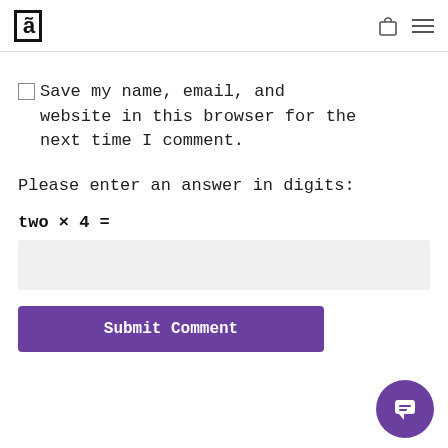[Logo] [bag icon] [menu icon]
Save my name, email, and website in this browser for the next time I comment.
Please enter an answer in digits:
[answer input field]
Submit Comment